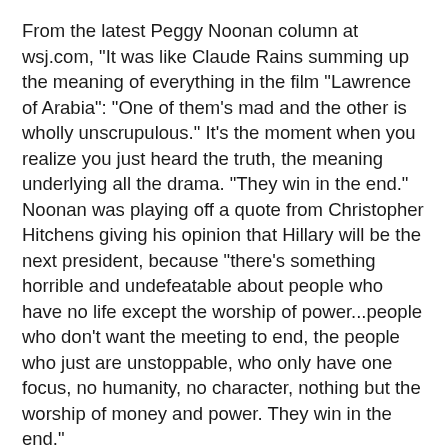From the latest Peggy Noonan column at wsj.com, "It was like Claude Rains summing up the meaning of everything in the film "Lawrence of Arabia": "One of them's mad and the other is wholly unscrupulous." It's the moment when you realize you just heard the truth, the meaning underlying all the drama. "They win in the end." Noonan was playing off a quote from Christopher Hitchens giving his opinion that Hillary will be the next president, because "there's something horrible and undefeatable about people who have no life except the worship of power...people who don't want the meeting to end, the people who just are unstoppable, who only have one focus, no humanity, no character, nothing but the worship of money and power. They win in the end."
I love it when I get to dovetail two of my favorites.
Sometimes interesting events just fall into a person's life. I'm a glutton for politics. No broadcast on C-SPAN is too boring for me. I want to hear what those in power are up to with my future, how they are managing my country. It is important to check out those advising your political candidate of choice. It's important to know who a presidential candidate may bring